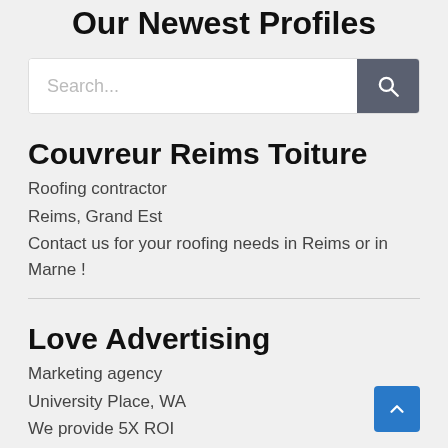Our Newest Profiles
[Figure (screenshot): Search bar with text input and magnifying glass button]
Couvreur Reims Toiture
Roofing contractor
Reims, Grand Est
Contact us for your roofing needs in Reims or in Marne !
Love Advertising
Marketing agency
University Place, WA
We provide 5X ROI